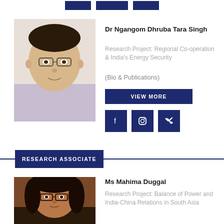[Figure (photo): Small social media icon buttons (Facebook, Instagram, Twitter) in dark navy blue at top of page]
[Figure (photo): Headshot of Dr Ngangom Dhruba Tara Singh, Asian male with glasses wearing light pink shirt]
Dr Ngangom Dhruba Tara Singh
Research Project: Regional Co-operation & India's Energy Security
(Bio & Publications)
VIEW MORE
[Figure (other): Social media icon buttons for Facebook, Instagram, Twitter in dark navy blue]
RESEARCH ASSOCIATE
[Figure (photo): Headshot of Ms Mahima Duggal, South Asian woman with glasses and dark hair]
Ms Mahima Duggal
Research Project: Balance of Power and India-China Relations in South Asia